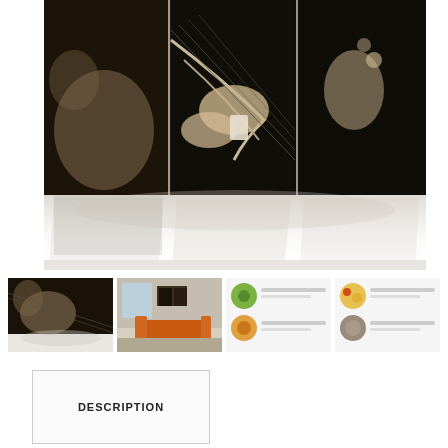[Figure (photo): Large triptych canvas print showing hands playing a guitar/bass strings, sepia-toned, displayed as three panels with reflection on surface below]
[Figure (photo): Thumbnail 1: sepia guitar hands canvas triptych]
[Figure (photo): Thumbnail 2: room scene with orange sofa and canvas art on wall]
[Figure (photo): Thumbnail 3: product info sheet with circular images]
[Figure (photo): Thumbnail 4: product info sheet with food/material circular images]
DESCRIPTION